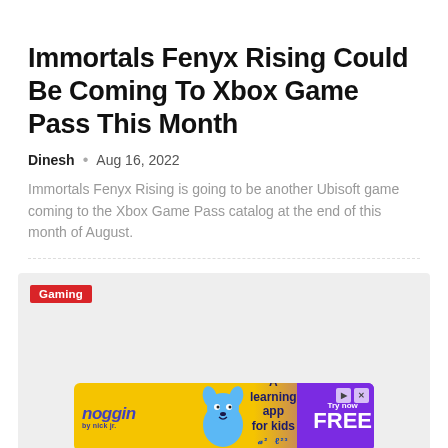Immortals Fenyx Rising Could Be Coming To Xbox Game Pass This Month
Dinesh • Aug 16, 2022
Immortals Fenyx Rising is going to be another Ubisoft game coming to the Xbox Game Pass catalog at the end of this month of August.
[Figure (screenshot): Article image area with 'Gaming' badge label in red, and a noggin by Nick Jr. advertisement banner at the bottom showing a blue dog character, text 'A learning app for kids' and 'Try now FREE' call to action on purple background.]